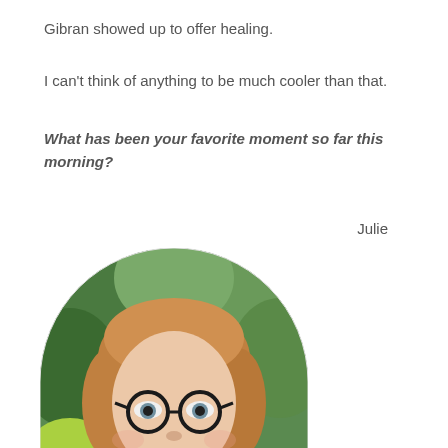Gibran showed up to offer healing.
I can't think of anything to be much cooler than that.
What has been your favorite moment so far this morning?
Julie
[Figure (photo): Circular/arch-shaped portrait photo of a smiling woman with reddish-blonde hair and round dark-framed glasses, outdoors with green trees in background.]